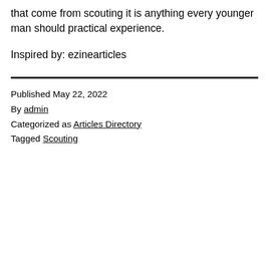that come from scouting it is anything every younger man should practical experience.
Inspired by: ezinearticles
Published May 22, 2022
By admin
Categorized as Articles Directory
Tagged Scouting